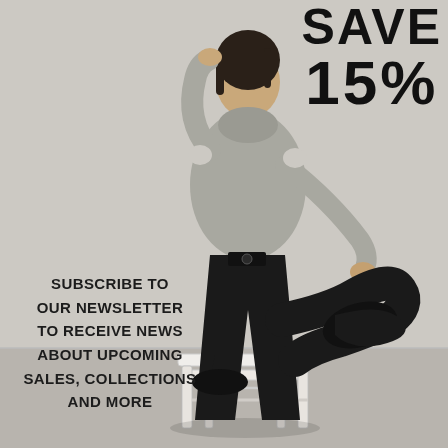[Figure (photo): Fashion photo of a woman in a grey cold-shoulder turtleneck top and black wide-leg trousers with black boots, posing dynamically on a white step stool against a light grey background]
SAVE 15%
SUBSCRIBE TO OUR NEWSLETTER TO RECEIVE NEWS ABOUT UPCOMING SALES, COLLECTIONS AND MORE